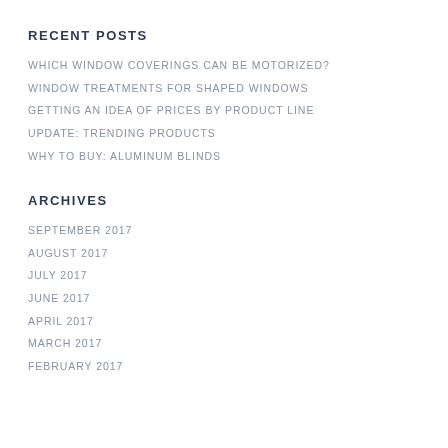RECENT POSTS
WHICH WINDOW COVERINGS CAN BE MOTORIZED?
WINDOW TREATMENTS FOR SHAPED WINDOWS
GETTING AN IDEA OF PRICES BY PRODUCT LINE
UPDATE: TRENDING PRODUCTS
WHY TO BUY: ALUMINUM BLINDS
ARCHIVES
SEPTEMBER 2017
AUGUST 2017
JULY 2017
JUNE 2017
APRIL 2017
MARCH 2017
FEBRUARY 2017